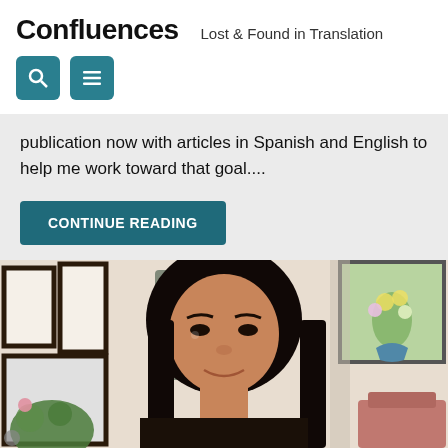Confluences   Lost & Found in Translation
publication now with articles in Spanish and English to help me work toward that goal....
CONTINUE READING
[Figure (photo): Photo of a young Asian woman with long dark hair, smiling slightly, in a home office setting with framed pictures on the wall behind her, a floral painting, plants, and a pink chair visible.]